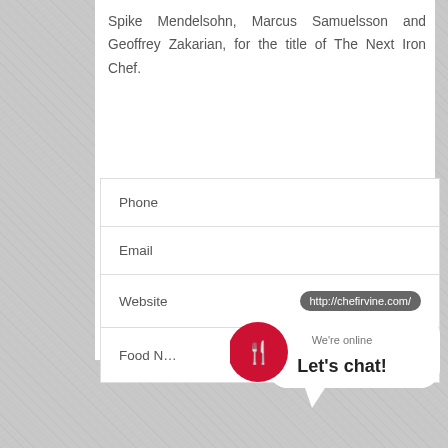Spike Mendelsohn, Marcus Samuelsson and Geoffrey Zakarian, for the title of The Next Iron Chef.
| Field | Value |
| --- | --- |
| Phone |  |
| Email |  |
| Website | http://chefirvine.com/ |
| Food N... |  |
[Figure (other): Live chat widget with red circular icon showing fork and knife, speech bubble saying 'We're online / Let's chat!']